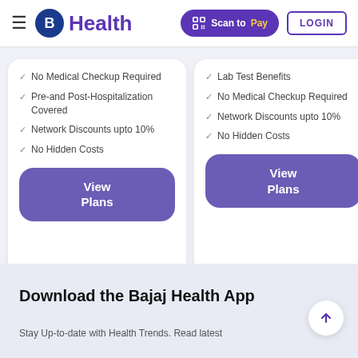B Health | Scan to Pay | LOGIN
No Medical Checkup Required
Pre-and Post-Hospitalization Covered
Network Discounts upto 10%
No Hidden Costs
View Plans
Lab Test Benefits
No Medical Checkup Required
Network Discounts upto 10%
No Hidden Costs
View Plans
Download the Bajaj Health App
Stay Up-to-date with Health Trends. Read latest